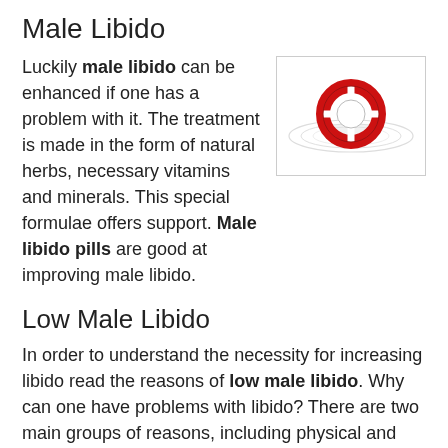Male Libido
Luckily male libido can be enhanced if one has a problem with it. The treatment is made in the form of natural herbs, necessary vitamins and minerals. This special formulae offers support. Male libido pills are good at improving male libido.
[Figure (illustration): Red and white life preserver ring floating on water with ripple effect, on white background inside a bordered box.]
Low Male Libido
In order to understand the necessity for increasing libido read the reasons of low male libido. Why can one have problems with libido? There are two main groups of reasons, including physical and psychological ones.
The issue of poorly developed relationships is one of psychological causes. It implies lack of communication and understanding between the partners, regarding each other's sexual preferences and needs as well as